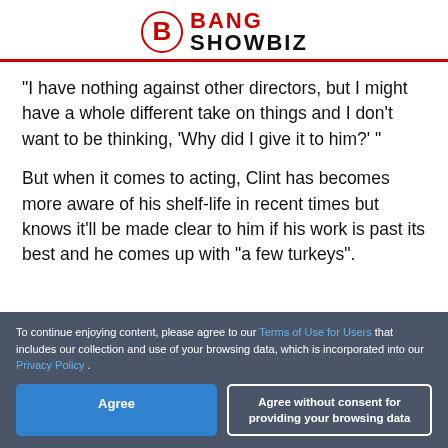BANG SHOWBIZ
"I have nothing against other directors, but I might have a whole different take on things and I don't want to be thinking, 'Why did I give it to him?' "
But when it comes to acting, Clint has becomes more aware of his shelf-life in recent times but knows it'll be made clear to him if his work is past its best and he comes up with "a few turkeys".
To continue enjoying content, please agree to our Terms of Use for Users that includes our collection and use of your browsing data, which is incorporated into our Privacy Policy .
Agree | Agree without consent for providing your browsing data